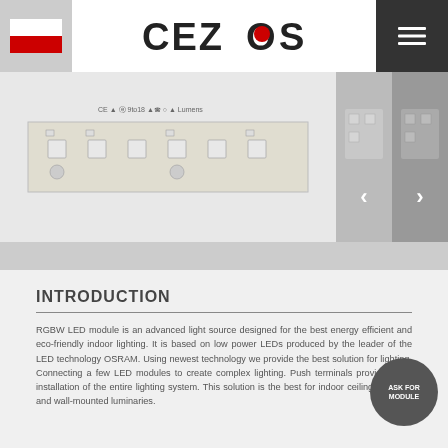CEZOS
[Figure (photo): LED module strip product image with multiple LED components visible, shown in a horizontal carousel with navigation arrows and thumbnails]
INTRODUCTION
RGBW LED module is an advanced light source designed for the best energy efficient and eco-friendly indoor lighting. It is based on low power LEDs produced by the leader of the LED technology OSRAM. Using newest technology we provide the best solution for lighting. Connecting a few LED modules to create complex lighting. Push terminals provide quick installation of the entire lighting system. This solution is the best for indoor ceiling-mounted and wall-mounted luminaries.